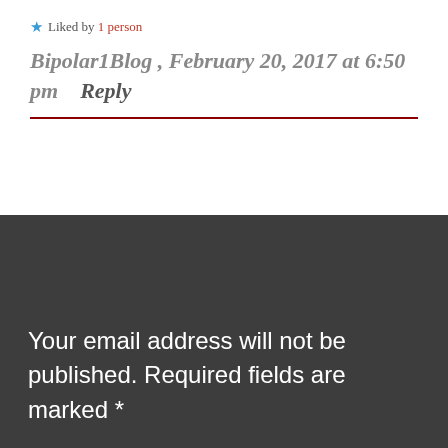★ Liked by 1 person
Bipolar1Blog , February 20, 2017 at 6:50 pm   Reply
Your email address will not be published. Required fields are marked *